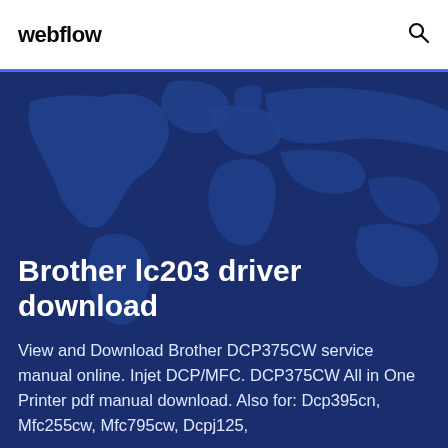webflow
Brother lc203 driver download
View and Download Brother DCP375CW service manual online. Injet DCP/MFC. DCP375CW All in One Printer pdf manual download. Also for: Dcp395cn, Mfc255cw, Mfc795cw, Dcpj125,